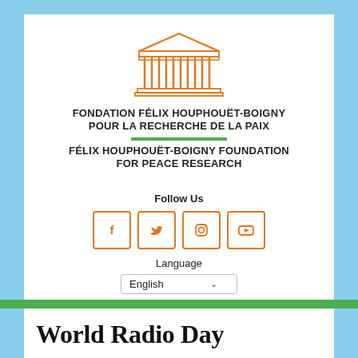[Figure (logo): Orange line-art illustration of a classical Greek/Roman temple (columns and pediment)]
FONDATION FÉLIX HOUPHOUËT-BOIGNY POUR LA RECHERCHE DE LA PAIX
FÉLIX HOUPHOUËT-BOIGNY FOUNDATION FOR PEACE RESEARCH
Follow Us
[Figure (infographic): Four orange-bordered social media icon boxes: Facebook (f), Twitter (bird), Instagram (camera), YouTube (play button)]
Language
English
World Radio Day